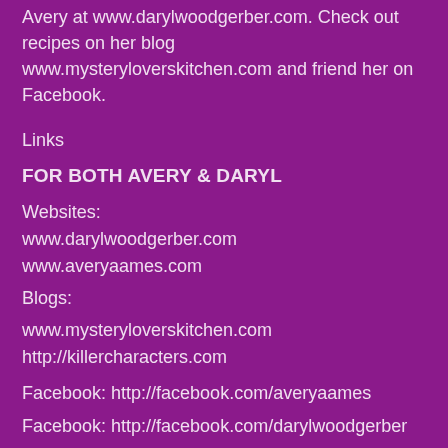Avery at www.darylwoodgerber.com. Check out recipes on her blog www.mysteryloverskitchen.com and friend her on Facebook.
Links
FOR BOTH AVERY & DARYL
Websites:
www.darylwoodgerber.com
www.averyaames.com
Blogs:
www.mysteryloverskitchen.com
http://killercharacters.com
Facebook: http://facebook.com/averyaames
Facebook: http://facebook.com/darylwoodgerber